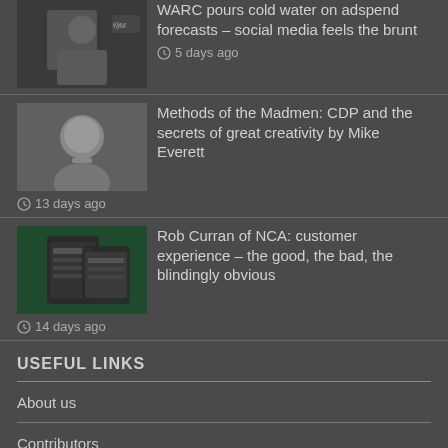[Figure (photo): Thumbnail of person in dark clothing against light background]
WARC pours cold water on adspend forecasts – social media feels the brunt
5 days ago
[Figure (photo): Grayscale thumbnail portrait of person]
Methods of the Madmen: CDP and the secrets of great creativity by Mike Everett
13 days ago
[Figure (screenshot): Screenshot of a mobile app or website on dark green background]
Rob Curran of NCA: customer experience – the good, the bad, the blindingly obvious
14 days ago
USEFUL LINKS
About us
Contributors
Timeline